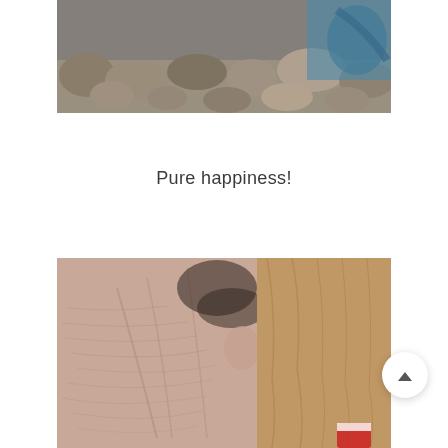[Figure (photo): Partial photo at top of page showing rocks/stones and a person in blue clothing lying on a surface]
Pure happiness!
[Figure (photo): Close-up photo of an elderly person's face/neck showing wrinkled skin, with wooden background visible and a small red and white object in corner]